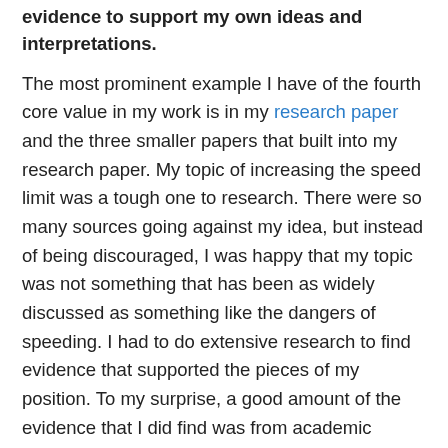evidence to support my own ideas and interpretations.
The most prominent example I have of the fourth core value in my work is in my research paper and the three smaller papers that built into my research paper. My topic of increasing the speed limit was a tough one to research. There were so many sources going against my idea, but instead of being discouraged, I was happy that my topic was not something that has been as widely discussed as something like the dangers of speeding. I had to do extensive research to find evidence that supported the pieces of my position. To my surprise, a good amount of the evidence that I did find was from academic sources, and as soon as I gathered the evidence that I needed, it was pretty easy to get the ball rolling with my essays.
Core Value 5. My work demonstrates that I respect my